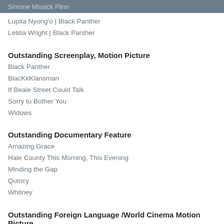Simone Missick Flinn
Lupita Nyong'o | Black Panther
Letitia Wright | Black Panther
Outstanding Screenplay, Motion Picture
Black Panther
BlacKkKlansman
If Beale Street Could Talk
Sorry to Bother You
Widows
Outstanding Documentary Feature
Amazing Grace
Hale County This Morning, This Evening
Minding the Gap
Quincy
Whitney
Outstanding Foreign Language /World Cinema Motion Picture
Green Days by the River (Trinidad & Tobago)